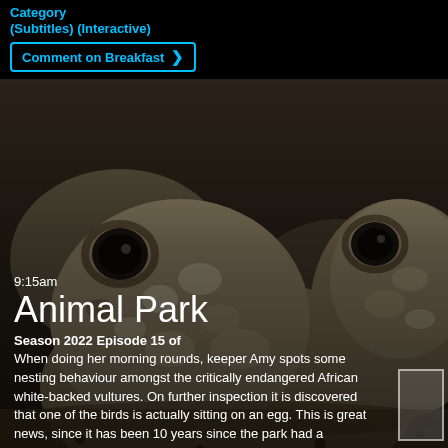Category
(Subtitles) (Interactive)
Comment on Breakfast
[Figure (photo): Close-up photograph of two frogs with mottled brown and white patterned skin, looking upward. Blurred natural background.]
9:15am
Animal Park
Season 2022 Episode 15 of
When doing her morning rounds, keeper Amy spots some nesting behaviour amongst the critically endangered African white-backed vultures. On further inspection it is discovered that one of the birds is actually sitting on an egg. This is great news, since it has been 10 years since the park had a successfully reared chick.